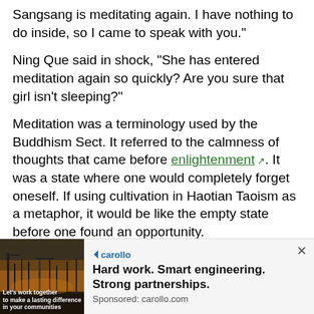Sangsang is meditating again. I have nothing to do inside, so I came to speak with you."
Ning Que said in shock, "She has entered meditation again so quickly? Are you sure that girl isn't sleeping?"
Meditation was a terminology used by the Buddhism Sect. It referred to the calmness of thoughts that came before enlightenment. It was a state where one would completely forget oneself. If using cultivation in Haotian Taoism as a metaphor, it would be like the empty state before one found an opportunity.
Sangsang entered meditation before noon and again after that. This meant that she had understood whatever Buddhism Dharma Master Qishan had taught her effortlessly. This was unbelievable.
[Figure (infographic): Advertisement banner for carollo.com. Shows the carollo logo, an image of an industrial/engineering facility at dusk with text 'Let's work together to make a lasting difference in your communities', and the headline 'Hard work. Smart engineering. Strong partnerships.' with 'Sponsored: carollo.com' below.]